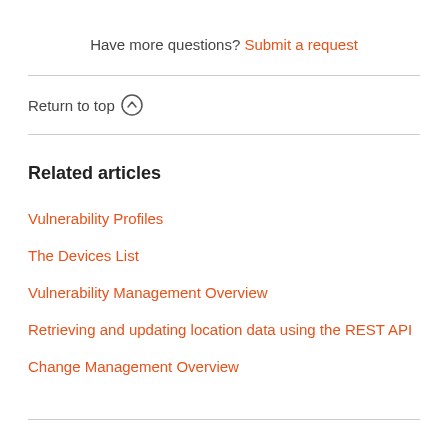Have more questions? Submit a request
Return to top ↑
Related articles
Vulnerability Profiles
The Devices List
Vulnerability Management Overview
Retrieving and updating location data using the REST API
Change Management Overview